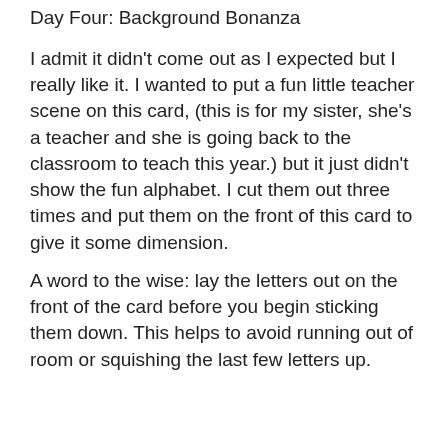Day Four: Background Bonanza
I admit it didn't come out as I expected but I really like it. I wanted to put a fun little teacher scene on this card, (this is for my sister, she's a teacher and she is going back to the classroom to teach this year.) but it just didn't show the fun alphabet. I cut them out three times and put them on the front of this card to give it some dimension.
A word to the wise: lay the letters out on the front of the card before you begin sticking them down. This helps to avoid running out of room or squishing the last few letters up.